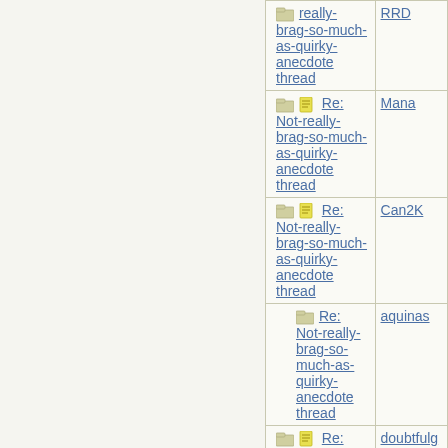| Subject | Author |
| --- | --- |
| really-brag-so-much-as-quirky-anecdote thread | RRD |
| Re: Not-really-brag-so-much-as-quirky-anecdote thread | Mana |
| Re: Not-really-brag-so-much-as-quirky-anecdote thread | Can2K |
| Re: Not-really-brag-so-much-as-quirky-anecdote thread | aquinas |
| Re: Not-really-brag-so-much-as-quirky-anecdote thread | doubtfulg |
| Re: Not-really-brag-so-much-as-quirky-anecdote thread | JessicaJu |
| Re: Not-really-brag-so-much-as-quirky-anecdote thread | doubtfulg |